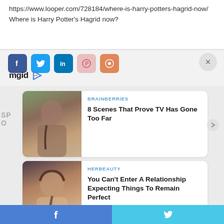https://www.looper.com/728184/where-is-harry-potters-hagrid-now/ Where is Harry Potter's Hagrid now?
[Figure (screenshot): Social media share bar with Facebook, Twitter, LinkedIn, Pinterest, and email icons, and an mgid logo with play button. A close (X) button is on the right.]
[Figure (screenshot): MGID content widget card: BRAINBERRIES label, headline '8 Scenes That Prove TV Has Gone Too Far', with a photo of a woman with braids.]
[Figure (screenshot): MGID content widget card: HERBEAUTY label, headline 'You Can't Enter A Relationship Expecting Things To Remain Perfect', with a photo of a woman.]
[Figure (screenshot): Bottom bar with Facebook and Twitter share buttons.]